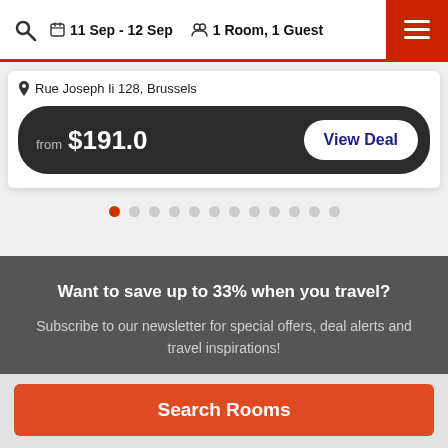11 Sep - 12 Sep  1 Room, 1 Guest
Rue Joseph Ii 128, Brussels
from $191.0
View Deal
Want to save up to 33% when you travel?
Subscribe to our newsletter for special offers, deal alerts and travel inspirations!
Search Rooms